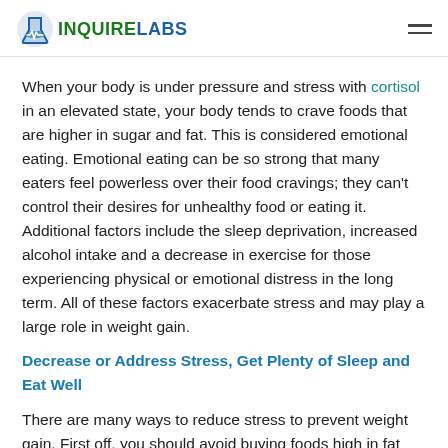INQUIRELABS
When your body is under pressure and stress with cortisol in an elevated state, your body tends to crave foods that are higher in sugar and fat. This is considered emotional eating. Emotional eating can be so strong that many eaters feel powerless over their food cravings; they can't control their desires for unhealthy food or eating it. Additional factors include the sleep deprivation, increased alcohol intake and a decrease in exercise for those experiencing physical or emotional distress in the long term. All of these factors exacerbate stress and may play a large role in weight gain.
Decrease or Address Stress, Get Plenty of Sleep and Eat Well
There are many ways to reduce stress to prevent weight gain. First off, you should avoid buying foods high in fat and